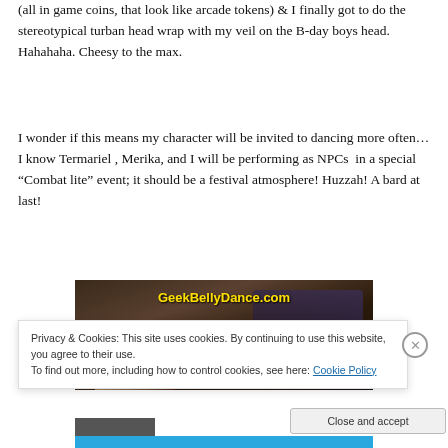(all in game coins, that look like arcade tokens) & I finally got to do the stereotypical turban head wrap with my veil on the B-day boys head. Hahahaha. Cheesy to the max.
I wonder if this means my character will be invited to dancing more often… I know Termariel , Merika, and I will be performing as NPCs  in a special “Combat lite” event; it should be a festival atmosphere! Huzzah! A bard at last!
[Figure (photo): A dark-toned photo showing arms or hands with text overlay 'GeekBellyDance.com' in yellow bold font at the top center.]
Privacy & Cookies: This site uses cookies. By continuing to use this website, you agree to their use.
To find out more, including how to control cookies, see here: Cookie Policy
Close and accept